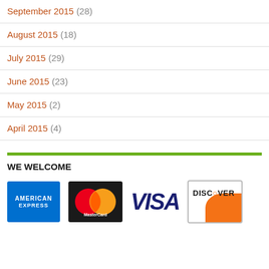September 2015 (28)
August 2015 (18)
July 2015 (29)
June 2015 (23)
May 2015 (2)
April 2015 (4)
WE WELCOME
[Figure (logo): Payment logos: American Express, MasterCard, Visa, Discover]